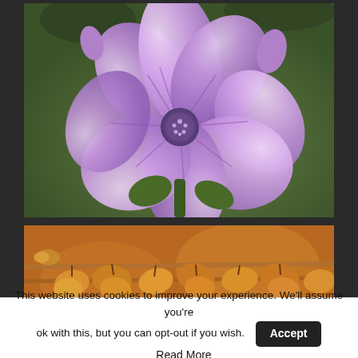[Figure (photo): Close-up photograph of a purple/violet mallow flower (Malva) with multiple large petals showing darker veining, against a blurred green background with buds visible]
[Figure (photo): Close-up photograph of dried yellow-orange seed pods or leaves attached to wire or thin branches, warm brown and amber tones]
This website uses cookies to improve your experience. We'll assume you're ok with this, but you can opt-out if you wish.
Accept
Read More